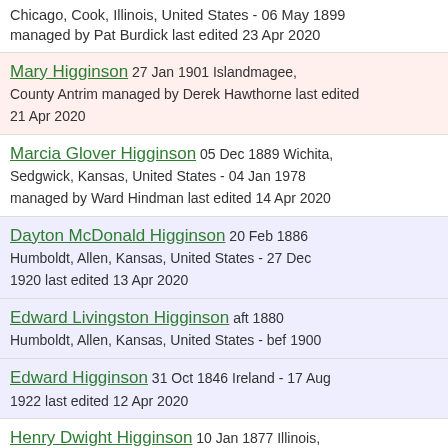Chicago, Cook, Illinois, United States - 06 May 1899 managed by Pat Burdick last edited 23 Apr 2020
Mary Higginson 27 Jan 1901 Islandmagee, County Antrim managed by Derek Hawthorne last edited 21 Apr 2020
Marcia Glover Higginson 05 Dec 1889 Wichita, Sedgwick, Kansas, United States - 04 Jan 1978 managed by Ward Hindman last edited 14 Apr 2020
Dayton McDonald Higginson 20 Feb 1886 Humboldt, Allen, Kansas, United States - 27 Dec 1920 last edited 13 Apr 2020
Edward Livingston Higginson aft 1880 Humboldt, Allen, Kansas, United States - bef 1900
Edward Higginson 31 Oct 1846 Ireland - 17 Aug 1922 last edited 12 Apr 2020
Henry Dwight Higginson 10 Jan 1877 Illinois,